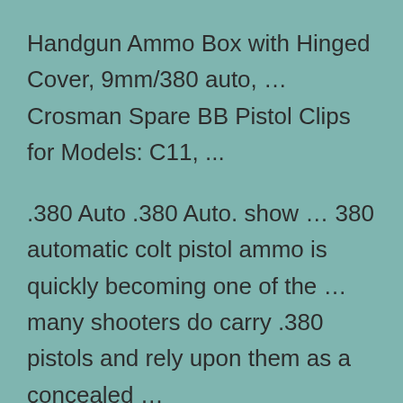Handgun Ammo Box with Hinged Cover, 9mm/380 auto, … Crosman Spare BB Pistol Clips for Models: C11, ...
.380 Auto .380 Auto. show … 380 automatic colt pistol ammo is quickly becoming one of the … many shooters do carry .380 pistols and rely upon them as a concealed …
For intended defensive uses, the gun owner will not go wrong in selecting ammunition …. The .380ACP, or "three eighty auto", represents a higher level of self … to the uncomfortable recoil and muzzle blast